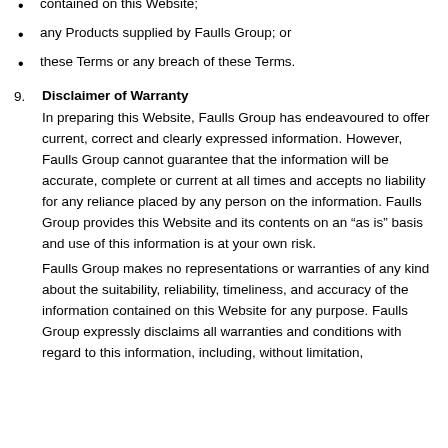contained on this Website;
any Products supplied by Faulls Group; or
these Terms or any breach of these Terms.
9. Disclaimer of Warranty
In preparing this Website, Faulls Group has endeavoured to offer current, correct and clearly expressed information. However, Faulls Group cannot guarantee that the information will be accurate, complete or current at all times and accepts no liability for any reliance placed by any person on the information. Faulls Group provides this Website and its contents on an “as is” basis and use of this information is at your own risk.
Faulls Group makes no representations or warranties of any kind about the suitability, reliability, timeliness, and accuracy of the information contained on this Website for any purpose. Faulls Group expressly disclaims all warranties and conditions with regard to this information, including, without limitation,